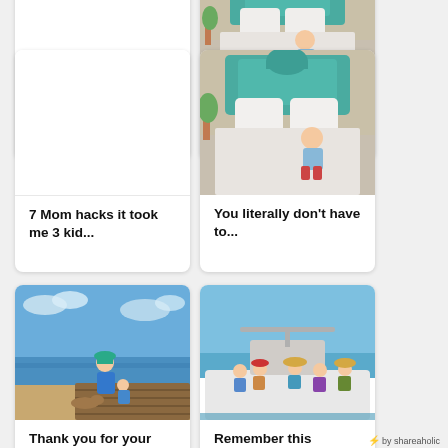[Figure (screenshot): White blank image area for top-left card]
7 Mom hacks it took me 3 kid...
[Figure (photo): Baby/toddler sitting on a white bed with a turquoise/green decorative headboard]
You literally don't have to...
[Figure (photo): Person in blue shirt and teal hat crouching on a wooden dock by the beach with a child, ocean and cloudy sky background]
Thank you for your grace -
[Figure (photo): Group of children and adults sitting on the bow of a white boat, ocean and clear sky in background]
Remember this feeling: you...
⚡ by shareaholic